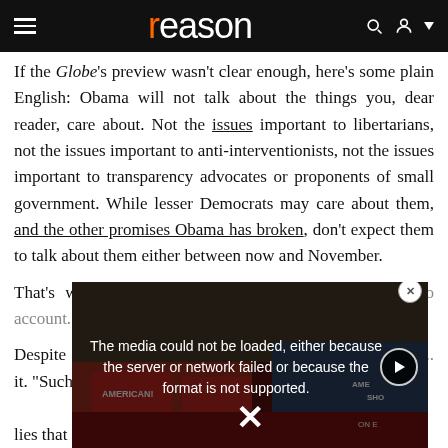reason
If the Globe's preview wasn't clear enough, here's some plain English: Obama will not talk about the things you, dear reader, care about. Not the issues important to libertarians, not the issues important to anti-interventionists, not the issues important to transparency advocates or proponents of small government. While lesser Democrats may care about them, and the other promises Obama has broken, don't expect them to talk about them either between now and November.
That's why we'[ll be holding the] President's beh[avior to account.]
Despite his pro[mises...] system without [...] country's coffer[s...] it. "Such fudges[...] lies that sold Obamacare, "reveal a politician who, for
[Figure (screenshot): Video player overlay showing error message: 'The media could not be loaded, either because the server or network failed or because the format is not supported.' with a close button (x) and play button. Background shows a protest scene with people holding signs.]